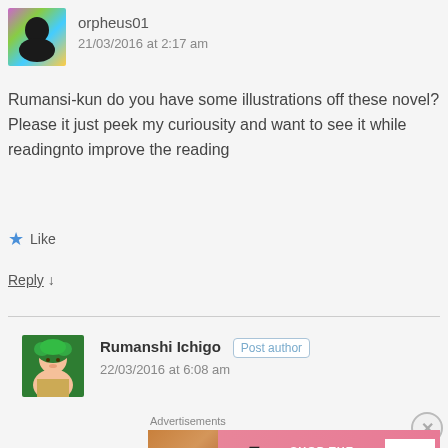[Figure (photo): Avatar of user orpheus01 — colorful abstract/anime style image]
orpheus01
21/03/2016 at 2:17 am
Rumansi-kun do you have some illustrations off these novel? Please it just peek my curiousity and want to see it while readingnto improve the reading
★ Like
Reply ↓
[Figure (illustration): Avatar of Rumanshi Ichigo — anime character with green hair]
Rumanshi Ichigo  Post author
22/03/2016 at 6:08 am
Advertisements
[Figure (photo): Victoria's Secret advertisement banner: SHOP THE COLLECTION — SHOP NOW]